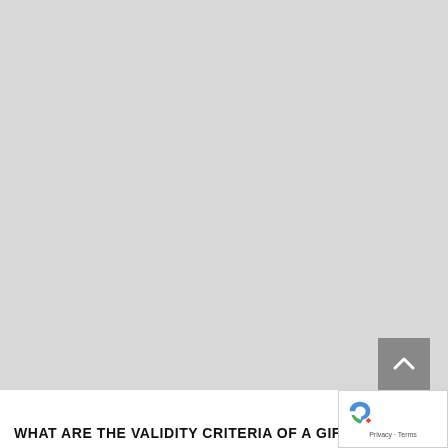[Figure (other): Large gray placeholder image area occupying the upper portion of the page.]
WHAT ARE THE VALIDITY CRITERIA OF A GIF...